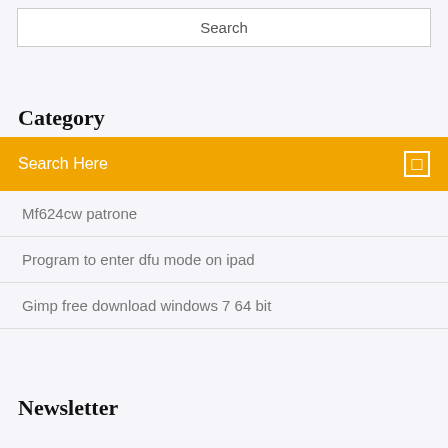Search
Category
Search Here
Mf624cw patrone
Program to enter dfu mode on ipad
Gimp free download windows 7 64 bit
Newsletter